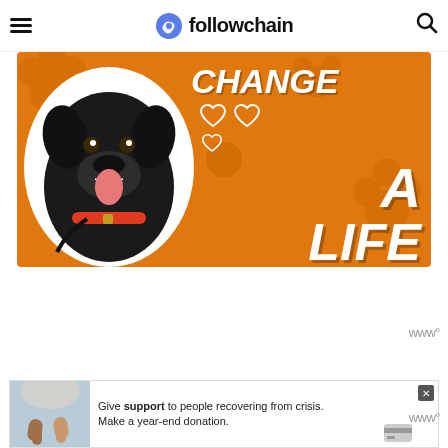followchain
[Figure (illustration): Orange background graphic with a black Labrador dog wearing a red collar, with text 'CHANGE A LIFE' and heart outlines. Promotional animal adoption image.]
[Figure (photo): Advertisement banner: two people holding hands, with text 'Give support to people recovering from crisis. Make a year-end donation.']